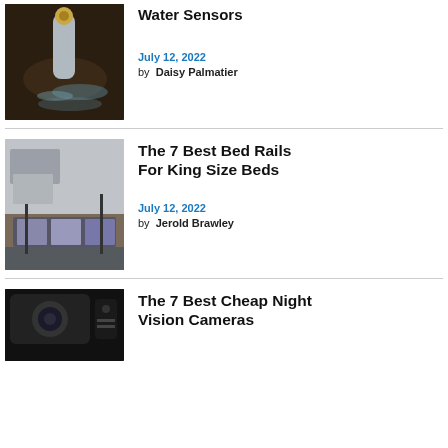Water Sensors
July 12, 2022
by  Daisy Palmatier
The 7 Best Bed Rails For King Size Beds
July 12, 2022
by  Jerold Brawley
The 7 Best Cheap Night Vision Cameras